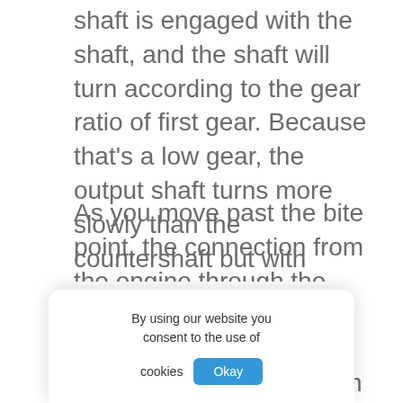shaft is engaged with the shaft, and the shaft will turn according to the gear ratio of first gear. Because that's a low gear, the output shaft turns more slowly than the countershaft but with greater power.
As you move past the bite point, the connection from the engine through the clutch becomes more engaged, and the input shaft… faster. More pow… out shaft, and… orward.
By using our website you consent to the use of cookies